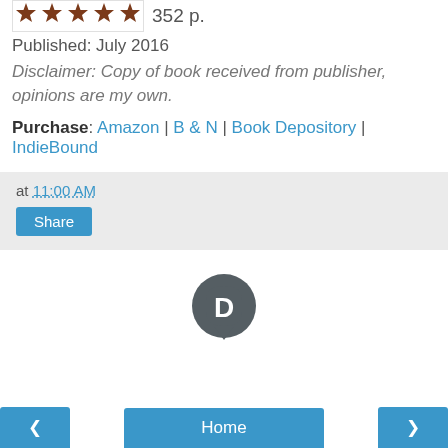[Figure (illustration): Five brown star rating icons in a row inside a white bordered box]
352 p.
Published: July 2016
Disclaimer: Copy of book received from publisher, opinions are my own.
Purchase: Amazon | B & N | Book Depository | IndieBound
at 11:00 AM
Share
[Figure (logo): Disqus logo icon — dark gray speech bubble with letter D in white]
Home